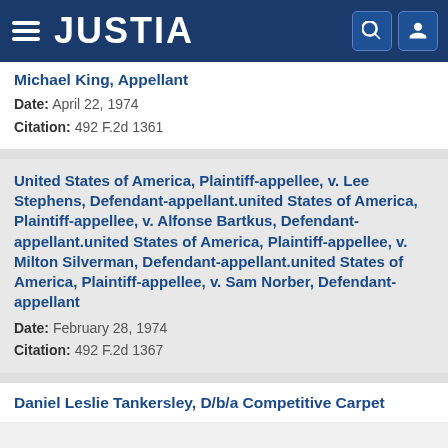JUSTIA
Michael King, Appellant
Date: April 22, 1974
Citation: 492 F.2d 1361
United States of America, Plaintiff-appellee, v. Lee Stephens, Defendant-appellant.united States of America, Plaintiff-appellee, v. Alfonse Bartkus, Defendant-appellant.united States of America, Plaintiff-appellee, v. Milton Silverman, Defendant-appellant.united States of America, Plaintiff-appellee, v. Sam Norber, Defendant-appellant
Date: February 28, 1974
Citation: 492 F.2d 1367
Daniel Leslie Tankersley, D/b/a Competitive Carpet